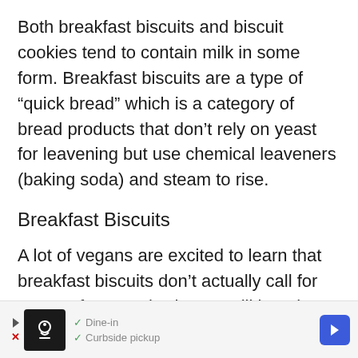Both breakfast biscuits and biscuit cookies tend to contain milk in some form. Breakfast biscuits are a type of “quick bread” which is a category of bread products that don’t rely on yeast for leavening but use chemical leaveners (baking soda) and steam to rise.
Breakfast Biscuits
A lot of vegans are excited to learn that breakfast biscuits don’t actually call for egg. Unfortunately, they’re still largely non-vegan, as most recipes include milk.
[Figure (other): Advertisement banner showing a restaurant logo with dine-in and curbside pickup options and a navigation arrow icon]